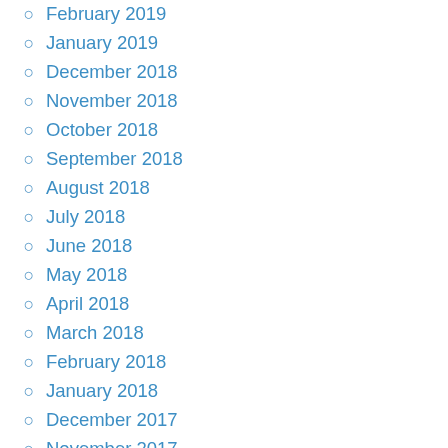February 2019
January 2019
December 2018
November 2018
October 2018
September 2018
August 2018
July 2018
June 2018
May 2018
April 2018
March 2018
February 2018
January 2018
December 2017
November 2017
October 2017
September 2017
August 2017